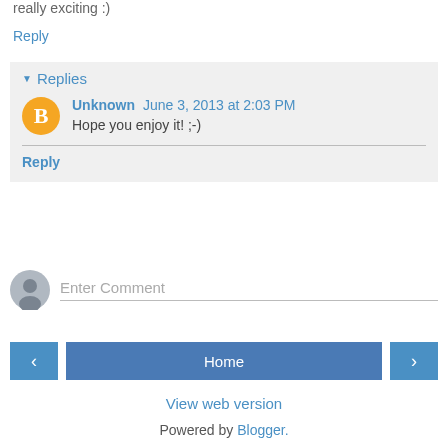really exciting :)
Reply
Replies
Unknown  June 3, 2013 at 2:03 PM
Hope you enjoy it! ;-)
Reply
Enter Comment
Home
View web version
Powered by Blogger.